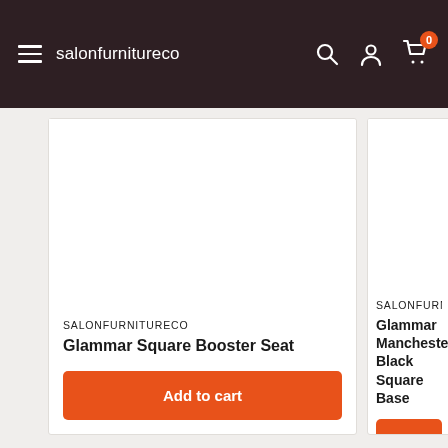salonfurnitureco
[Figure (screenshot): Product image area for Glammar Square Booster Seat (white/blank image area)]
SALONFURNITURECO
Glammar Square Booster Seat
Add to cart
[Figure (screenshot): Product image area for Glammar Manchester Black Square Base (white/blank image area, partially visible)]
SALONFURNITURECO
Glammar Manchester Black Square Base
Add to